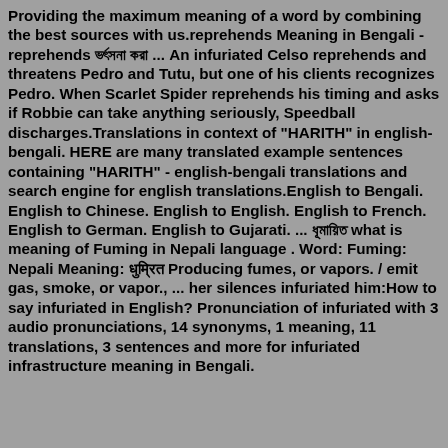Providing the maximum meaning of a word by combining the best sources with us.reprehends Meaning in Bengali - reprehends ভর্ৎসনা করা ... An infuriated Celso reprehends and threatens Pedro and Tutu, but one of his clients recognizes Pedro. When Scarlet Spider reprehends his timing and asks if Robbie can take anything seriously, Speedball discharges.Translations in context of "HARITH" in english-bengali. HERE are many translated example sentences containing "HARITH" - english-bengali translations and search engine for english translations.English to Bengali. English to Chinese. English to English. English to French. English to German. English to Gujarati. ... ধূমায়িত what is meaning of Fuming in Nepali language . Word: Fuming: Nepali Meaning: धुम्रित Producing fumes, or vapors. / emit gas, smoke, or vapor., ... her silences infuriated him:How to say infuriated in English? Pronunciation of infuriated with 3 audio pronunciations, 14 synonyms, 1 meaning, 11 translations, 3 sentences and more for infuriated infrastructure meaning in Bengali.